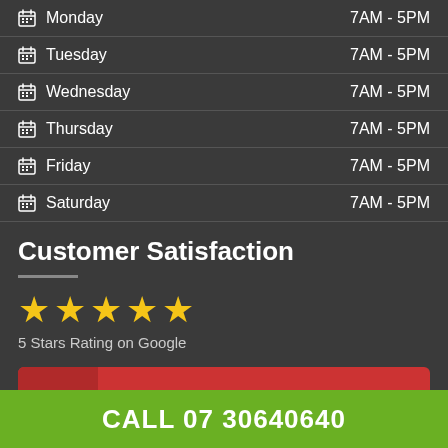Monday  7AM - 5PM
Tuesday  7AM - 5PM
Wednesday  7AM - 5PM
Thursday  7AM - 5PM
Friday  7AM - 5PM
Saturday  7AM - 5PM
Customer Satisfaction
[Figure (infographic): 5 gold stars rating - 5 Stars Rating on Google]
[Figure (infographic): Google+ Review Us on Google button (red background with g+ icon)]
CALL 07 30640640